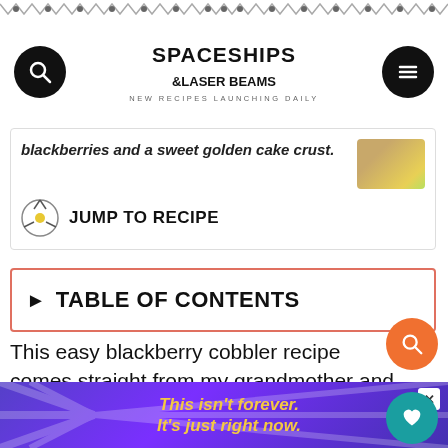SPACESHIPS & LASER BEAMS — NEW RECIPES LAUNCHING DAILY
blackberries and a sweet golden cake crust.
JUMP TO RECIPE
► TABLE OF CONTENTS
This easy blackberry cobbler recipe comes straight from my grandmother and is a simple fruit cobbler to prepare because it uses a cake mix. Fresh, juicy blackberries make this classic shine but if you don't have them, frozen or canned blackberries work too.
[Figure (screenshot): Advertisement banner: purple gradient background with radiating lines, yellow italic text reading 'This isn't forever. It's just right now.' with a close button.]